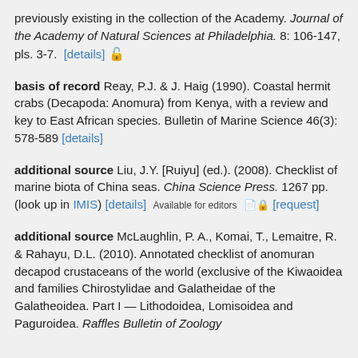previously existing in the collection of the Academy. Journal of the Academy of Natural Sciences at Philadelphia. 8: 106-147, pls. 3-7. [details] 🔓
basis of record Reay, P.J. & J. Haig (1990). Coastal hermit crabs (Decapoda: Anomura) from Kenya, with a review and key to East African species. Bulletin of Marine Science 46(3): 578-589 [details]
additional source Liu, J.Y. [Ruiyu] (ed.). (2008). Checklist of marine biota of China seas. China Science Press. 1267 pp. (look up in IMIS) [details] Available for editors 📄🔒 [request]
additional source McLaughlin, P. A., Komai, T., Lemaitre, R. & Rahayu, D.L. (2010). Annotated checklist of anomuran decapod crustaceans of the world (exclusive of the Kiwaoidea and families Chirostylidae and Galatheidae of the Galatheoidea. Part I — Lithodoidea, Lomisoidea and Paguroidea. Raffles Bulletin of Zoology